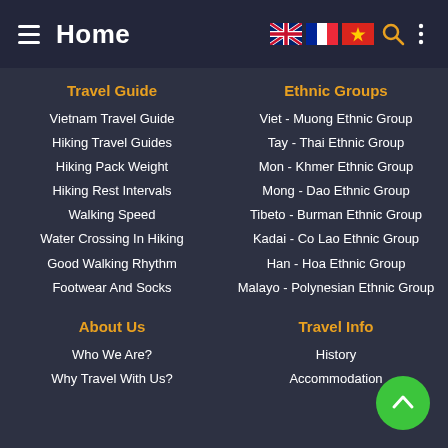Home
Travel Guide
Vietnam Travel Guide
Hiking Travel Guides
Hiking Pack Weight
Hiking Rest Intervals
Walking Speed
Water Crossing In Hiking
Good Walking Rhythm
Footwear And Socks
Ethnic Groups
Viet - Muong Ethnic Group
Tay - Thai Ethnic Group
Mon - Khmer Ethnic Group
Mong - Dao Ethnic Group
Tibeto - Burman Ethnic Group
Kadai - Co Lao Ethnic Group
Han - Hoa Ethnic Group
Malayo - Polynesian Ethnic Group
About Us
Who We Are?
Why Travel With Us?
Travel Info
History
Accommodation